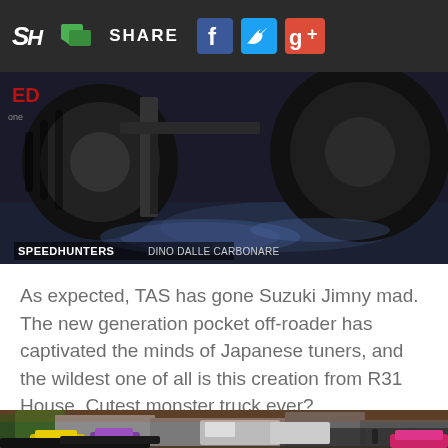SH SHARE [social icons]
[Figure (photo): Close-up photo of large monster truck tires/undercarriage with SPEEDHUNTERS DINO DALLE CARBONARE watermark at bottom left]
As expected, TAS has gone Suzuki Jimny mad. The new generation pocket off-roader has captivated the minds of Japanese tuners, and the wildest one of all is this creation from R31 House. Cutest monster truck ever?
[Figure (photo): Outdoor parking area photo showing colorful sports cars including yellow and purple vehicles, trees, buildings, trucks and people in background]